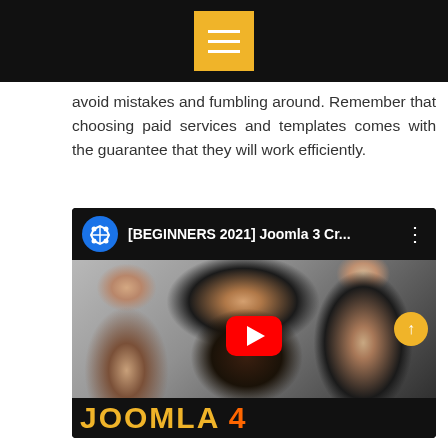[menu icon]
avoid mistakes and fumbling around. Remember that choosing paid services and templates comes with the guarantee that they will work efficiently.
[Figure (screenshot): YouTube video embed showing '[BEGINNERS 2021] Joomla 3 Cr...' with Joomla logo icon, thumbnail of people working together, red YouTube play button, and 'JOOMLA 4' text at the bottom bar.]